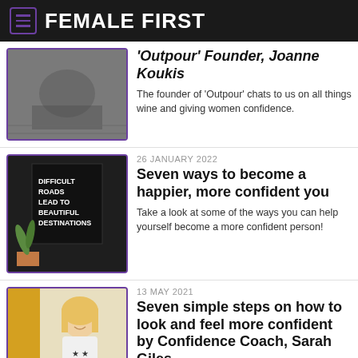FEMALE FIRST
[Figure (photo): Black and white photo of a person sitting on a floor]
'Outpour' Founder, Joanne Koukis
The founder of 'Outpour' chats to us on all things wine and giving women confidence.
26 JANUARY 2022
[Figure (photo): Photo of a sign reading DIFFICULT ROADS LEAD TO BEAUTIFUL DESTINATIONS with a plant beside it]
Seven ways to become a happier, more confident you
Take a look at some of the ways you can help yourself become a more confident person!
13 MAY 2021
[Figure (photo): Photo of a smiling blonde woman in a white t-shirt with stars]
Seven simple steps on how to look and feel more confident by Confidence Coach, Sarah Giles